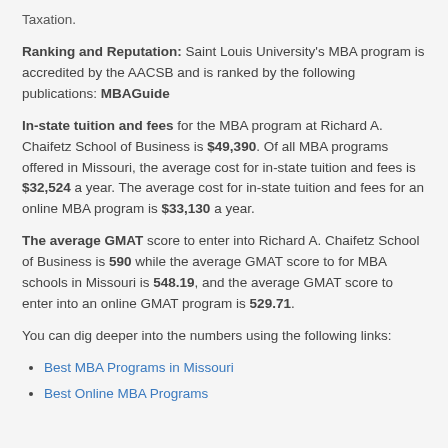Taxation.
Ranking and Reputation: Saint Louis University's MBA program is accredited by the AACSB and is ranked by the following publications: MBAGuide
In-state tuition and fees for the MBA program at Richard A. Chaifetz School of Business is $49,390. Of all MBA programs offered in Missouri, the average cost for in-state tuition and fees is $32,524 a year. The average cost for in-state tuition and fees for an online MBA program is $33,130 a year.
The average GMAT score to enter into Richard A. Chaifetz School of Business is 590 while the average GMAT score to for MBA schools in Missouri is 548.19, and the average GMAT score to enter into an online GMAT program is 529.71.
You can dig deeper into the numbers using the following links:
Best MBA Programs in Missouri
Best Online MBA Programs